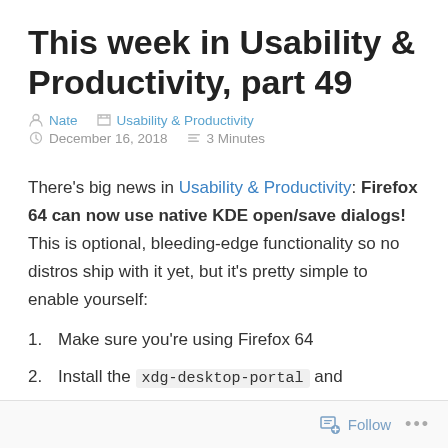This week in Usability & Productivity, part 49
Nate   Usability & Productivity   December 16, 2018   3 Minutes
There’s big news in Usability & Productivity: Firefox 64 can now use native KDE open/save dialogs! This is optional, bleeding-edge functionality so no distros ship with it yet, but it’s pretty simple to enable yourself:
1. Make sure you’re using Firefox 64
2. Install the xdg-desktop-portal and